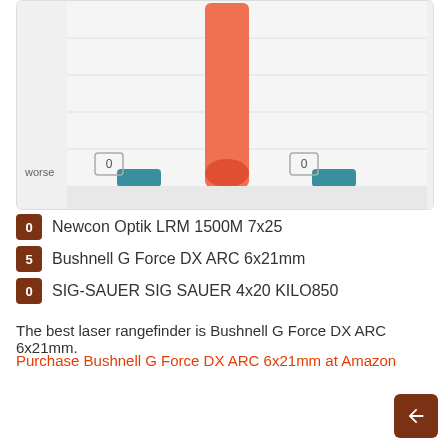[Figure (bar-chart): Comparison chart]
0 Newcon Optik LRM 1500M 7x25
5 Bushnell G Force DX ARC 6x21mm
0 SIG-SAUER SIG SAUER 4x20 KILO850
The best laser rangefinder is Bushnell G Force DX ARC 6x21mm.
Purchase Bushnell G Force DX ARC 6x21mm at Amazon